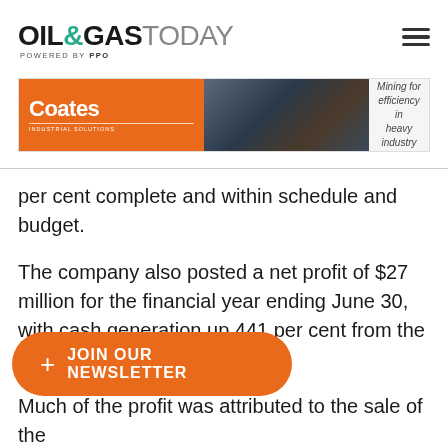OIL&GAS TODAY POWERED BY PPO
[Figure (other): Coates Industrial Solutions advertisement banner with worker image and text 'Mining for efficiency in heavy industry']
per cent complete and within schedule and budget.
The company also posted a net profit of $27 million for the financial year ending June 30, with cash generation up 441 per cent from the previous period.
Much of the profit was attributed to the sale of the [obscured] while the acquisition of the Otway Basin gas production had caused the [continues]
[Figure (other): Orange JOIN OUR NEWSLETTER button with plus sign]